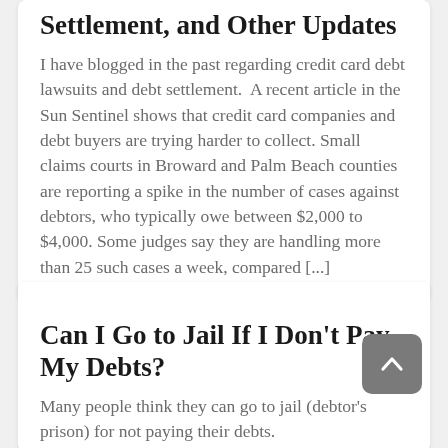Settlement, and Other Updates
I have blogged in the past regarding credit card debt lawsuits and debt settlement.  A recent article in the Sun Sentinel shows that credit card companies and debt buyers are trying harder to collect. Small claims courts in Broward and Palm Beach counties are reporting a spike in the number of cases against debtors, who typically owe between $2,000 to $4,000. Some judges say they are handling more than 25 such cases a week, compared [...]
Can I Go to Jail If I Don't Pay My Debts?
Many people think they can go to jail (debtor's prison) for not paying their debts.